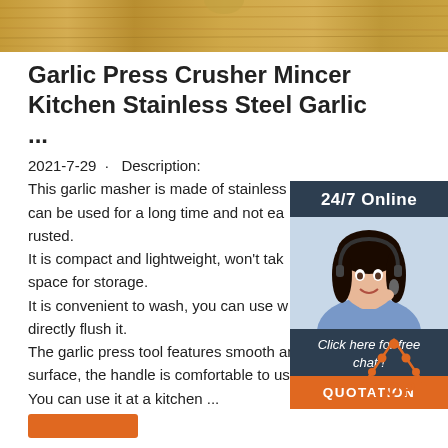[Figure (photo): Wood texture banner at the top of the page]
Garlic Press Crusher Mincer Kitchen Stainless Steel Garlic ...
2021-7-29 · Description:
This garlic masher is made of stainless can be used for a long time and not ea rusted.
It is compact and lightweight, won't tak space for storage.
It is convenient to wash, you can use w directly flush it.
The garlic press tool features smooth and fine surface, the handle is comfortable to use.
You can use it at a kitchen ...
[Figure (infographic): Sidebar with 24/7 Online support agent photo, 'Click here for free chat!' text, and QUOTATION button on dark navy background]
[Figure (logo): TOP badge with orange dots and TOP text in orange]